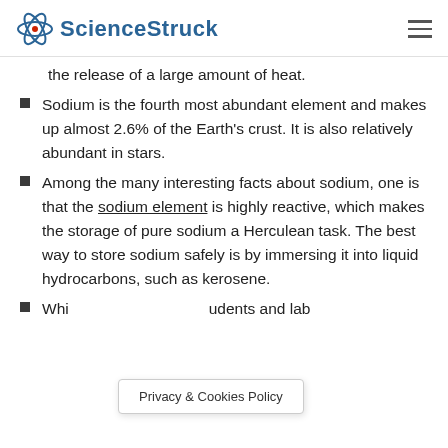ScienceStruck
the release of a large amount of heat.
Sodium is the fourth most abundant element and makes up almost 2.6% of the Earth's crust. It is also relatively abundant in stars.
Among the many interesting facts about sodium, one is that the sodium element is highly reactive, which makes the storage of pure sodium a Herculean task. The best way to store sodium safely is by immersing it into liquid hydrocarbons, such as kerosene.
Whi...udents and lab
Privacy & Cookies Policy